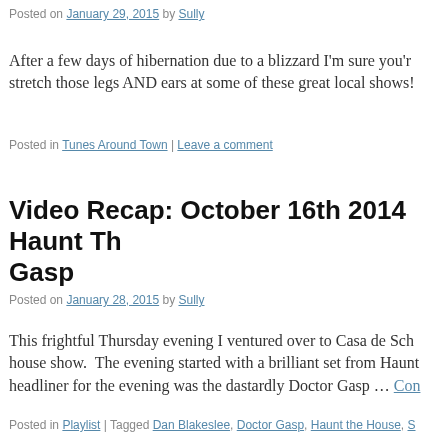Posted on January 29, 2015 by Sully
After a few days of hibernation due to a blizzard I'm sure you'r... stretch those legs AND ears at some of these great local shows!
Posted in Tunes Around Town | Leave a comment
Video Recap: October 16th 2014 Haunt Th... Gasp
Posted on January 28, 2015 by Sully
This frightful Thursday evening I ventured over to Casa de Schi... house show. The evening started with a brilliant set from Haunt... headliner for the evening was the dastardly Doctor Gasp … Con...
Posted in Playlist | Tagged Dan Blakeslee, Doctor Gasp, Haunt the House, S...
Video Recap: October 13th 2014 Providen...
Posted on January 27, 2015 by Sully